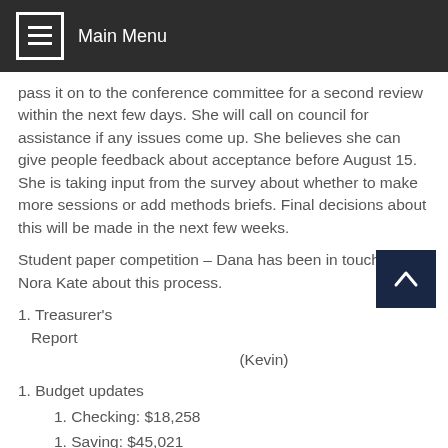Main Menu
pass it on to the conference committee for a second review within the next few days. She will call on council for assistance if any issues come up. She believes she can give people feedback about acceptance before August 15. She is taking input from the survey about whether to make more sessions or add methods briefs. Final decisions about this will be made in the next few weeks.
Student paper competition – Dana has been in touch with Nora Kate about this process.
1. Treasurer's Report
(Kevin)
1. Budget updates
1. Checking: $18,258
1. Saving: $45,021
b. Getting back MARCR items from AACR2